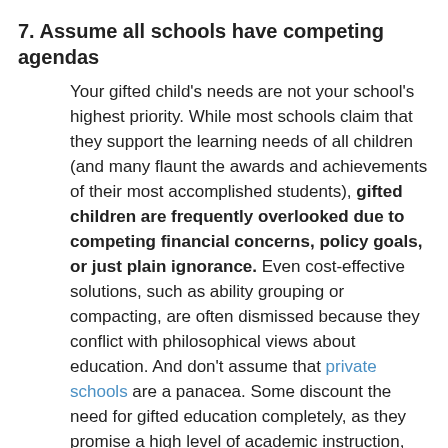7. Assume all schools have competing agendas
Your gifted child's needs are not your school's highest priority. While most schools claim that they support the learning needs of all children (and many flaunt the awards and achievements of their most accomplished students), gifted children are frequently overlooked due to competing financial concerns, policy goals, or just plain ignorance. Even cost-effective solutions, such as ability grouping or compacting, are often dismissed because they conflict with philosophical views about education. And don't assume that private schools are a panacea. Some discount the need for gifted education completely, as they promise a high level of academic instruction, and assume that your child won't need anything beyond this. Accept that it will seem like an uphill battle at times.
8. No teacher knows as much about your child as you do